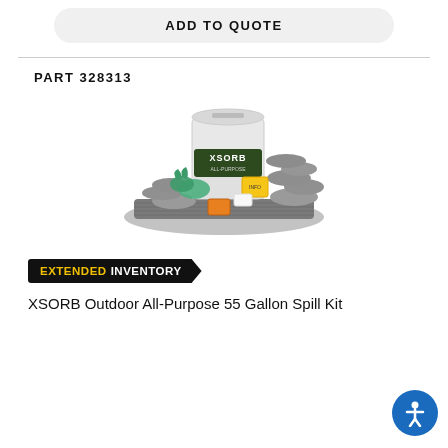ADD TO QUOTE
PART 328313
[Figure (photo): XSORB Outdoor All-Purpose 55 Gallon Spill Kit product photo showing a white bag labeled XSORB, gray absorbent socks and pads, green gloves, and yellow instruction packets arranged together]
EXTENDED INVENTORY
XSORB Outdoor All-Purpose 55 Gallon Spill Kit